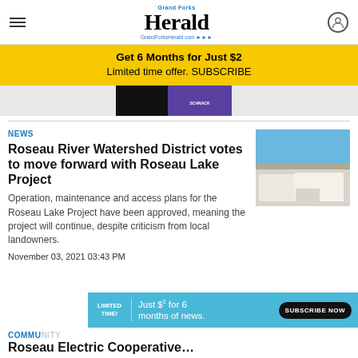Grand Forks Herald — GrandForksHerald.com
Get 6 Months for Just $2
Limited time offer. SUBSCRIBE
[Figure (photo): Partial view of book covers advertisement image]
NEWS
Roseau River Watershed District votes to move forward with Roseau Lake Project
[Figure (photo): Photo of white pickup trucks parked outside a building under a blue sky]
Operation, maintenance and access plans for the Roseau Lake Project have been approved, meaning the project will continue, despite criticism from local landowners.
November 03, 2021 03:43 PM
LIMITED TIME! Just $2 for 6 months of news. SUBSCRIBE NOW
COMMU...
Roseau Electric Cooperative...